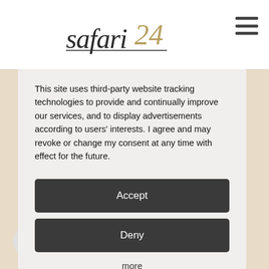[Figure (logo): Safari24 logo in cursive script with golden '24' numeral]
[Figure (illustration): Hamburger menu icon (three horizontal lines)]
This site uses third-party website tracking technologies to provide and continually improve our services, and to display advertisements according to users' interests. I agree and may revoke or change my consent at any time with effect for the future.
Accept
Deny
more
Powered by usercentrics & eRecht24
ernational flights